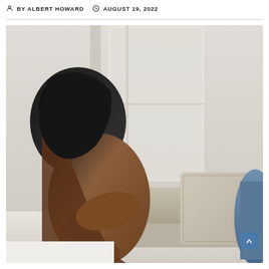BY ALBERT HOWARD  AUGUST 19, 2022
[Figure (photo): A person with dark hair leaning forward, shirtless with a brown upper body, sitting on a white surface in front of a couch with light grey/beige cushions and another person partially visible on the right wearing blue jeans, indoors with a white wall and window in the background.]